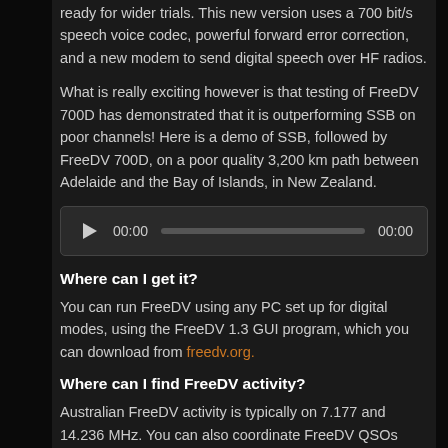ready for wider trials. This new version uses a 700 bit/s speech voice codec, powerful forward error correction, and a new modem to send digital speech over HF radios.
What is really exciting however is that testing of FreeDV 700D has demonstrated that it is outperforming SSB on poor channels! Here is a demo of SSB, followed by FreeDV 700D, on a poor quality 3,200 km path between Adelaide and the Bay of Islands, in New Zealand.
[Figure (screenshot): Audio player widget with play button, 00:00 start time, progress bar, and 00:00 end time on dark background]
Where can I get it?
You can run FreeDV using any PC set up for digital modes, using the FreeDV 1.3 GUI program, which you can download from freedv.org.
Where can I find FreeDV activity?
Australian FreeDV activity is typically on 7.177 and 14.236 MHz. You can also coordinate FreeDV QSOs using the